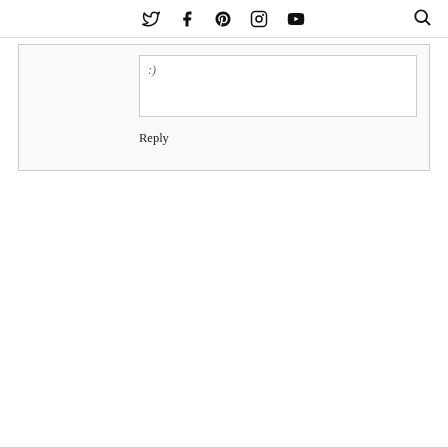Twitter Facebook Pinterest Instagram YouTube [Search]
[Figure (screenshot): Comment reply textarea with smiley face placeholder]
Reply